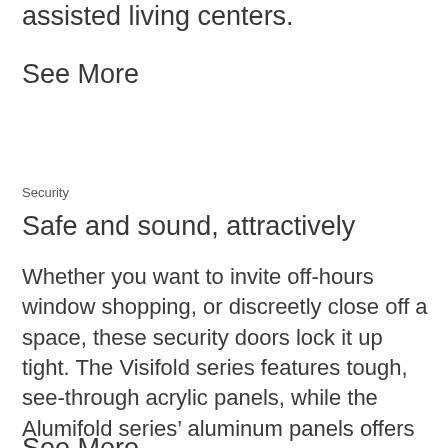assisted living centers.
See More
Security
Safe and sound, attractively
Whether you want to invite off-hours window shopping, or discreetly close off a space, these security doors lock it up tight. The Visifold series features tough, see-through acrylic panels, while the Alumifold series’ aluminum panels offers complete privacy.
See More